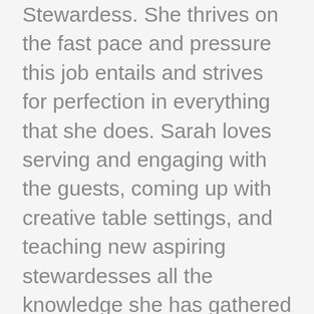Stewardess. She thrives on the fast pace and pressure this job entails and strives for perfection in everything that she does. Sarah loves serving and engaging with the guests, coming up with creative table settings, and teaching new aspiring stewardesses all the knowledge she has gathered this far. She is known to be a positive personality, keeping fellow crew members in high spirits throughout each day.
In her spare time Sarah enjoys running, swimming, kitesurfing, cross country cycling, sewing, knitting, playing field hockey, and socializing with friends. Sarah wants guests to look at every table setting, every meal, every drink made, and the attention to detail given in their cabins and common areas, and be